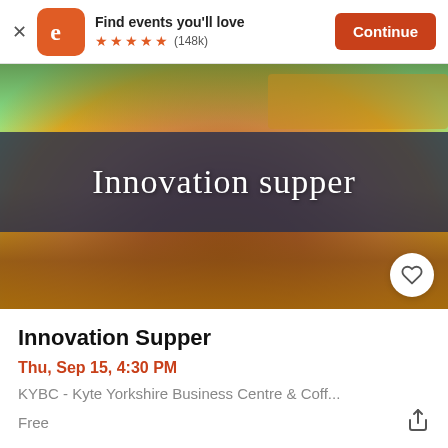[Figure (screenshot): App store banner with Eventbrite logo (orange rounded square with white 'e'), text 'Find events you'll love', five orange stars, '(148k)' review count, and orange 'Continue' button]
[Figure (photo): Food photo showing a roasted meat dish with green vegetables, overlaid with a dark semi-transparent banner reading 'Innovation supper' in white serif font. A white circular heart/favorite button is in the lower right corner.]
Innovation Supper
Thu, Sep 15, 4:30 PM
KYBC - Kyte Yorkshire Business Centre & Coff...
Free